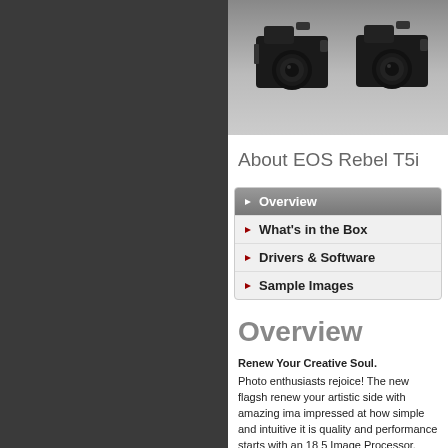[Figure (photo): Two Canon EOS Rebel T5i cameras shown side by side on a gradient background]
About EOS Rebel T5i
Overview (active/selected)
What's in the Box
Drivers & Software
Sample Images
Overview
Renew Your Creative Soul.
Photo enthusiasts rejoice! The new flagsh... renew your artistic side with amazing ima... impressed at how simple and intuitive it is... quality and performance starts with an 18... 5 Image Processor. Combined with an exr... mode), the EOS Rebel T5i boasts crisp, d... shooting speed of up to 5.0 fps allows for... crisp focus throughout the frame, and the... autofocus when shooting in Live View mc... for smooth, quiet AF performance. And th... mode with Movie Servo AF makes shooti... Screen 3.0-inch Clear View LCD monitor... real time, puts composition control direct... Rebel T5i that is sure to renew your crea...